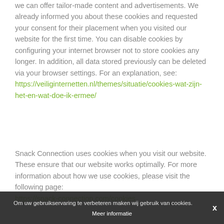we can offer tailor-made content and advertisements. We already informed you about these cookies and requested your consent for their placement when you visited our website for the first time. You can disable cookies by configuring your internet browser not to store cookies any longer. In addition, all data stored previously can be deleted via your browser settings. For an explanation, see: https://veiliginternetten.nl/themes/situatie/cookies-wat-zijn-het-en-wat-doe-ik-ermee/
Snack Connection uses cookies when you visit our website. These ensure that our website works optimally. For more information about how we use cookies, please visit the following page: https://snack-connection.com/cookies
Om uw gebruikservaring te verbeteren maken wij gebruik van cookies. Meer informatie